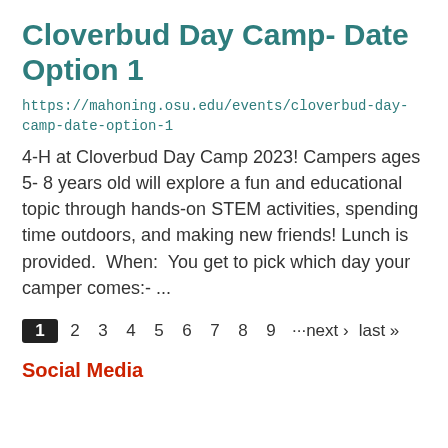Cloverbud Day Camp- Date Option 1
https://mahoning.osu.edu/events/cloverbud-day-camp-date-option-1
4-H at Cloverbud Day Camp 2023! Campers ages 5- 8 years old will explore a fun and educational topic through hands-on STEM activities, spending time outdoors, and making new friends! Lunch is provided.  When:  You get to pick which day your camper comes:- ...
1 2 3 4 5 6 7 8 9 ···next › last »
Social Media